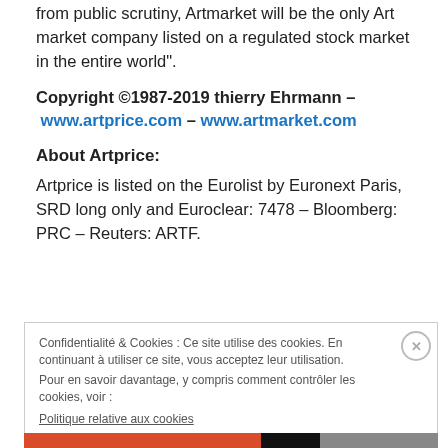from public scrutiny, Artmarket will be the only Art market company listed on a regulated stock market in the entire world".
Copyright ©1987-2019 thierry Ehrmann – www.artprice.com – www.artmarket.com
About Artprice:
Artprice is listed on the Eurolist by Euronext Paris, SRD long only and Euroclear: 7478 – Bloomberg: PRC – Reuters: ARTF.
Confidentialité & Cookies : Ce site utilise des cookies. En continuant à utiliser ce site, vous acceptez leur utilisation.
Pour en savoir davantage, y compris comment contrôler les cookies, voir :
Politique relative aux cookies
[Fermer et accepter]